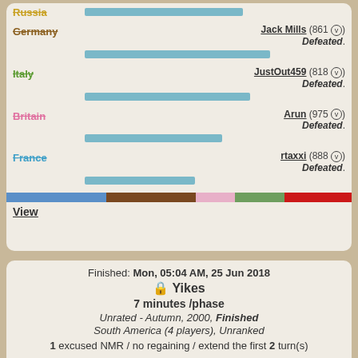[Figure (infographic): Diplomacy game results showing country rows with player names, ratings, bar charts for game progress, and result status (Defeated). Countries shown: Russia, Germany, Italy, Britain, France. Players: Jack Mills (861), JustOut459 (818), Arun (975), rtaxxi (888). All marked Defeated.]
View
Finished: Mon, 05:04 AM, 25 Jun 2018
🔒 Yikes
7 minutes /phase
Unrated - Autumn, 2000, Finished
South America (4 players), Unranked
1 excused NMR / no regaining / extend the first 2 turn(s)
Game won by rtaxxi (888 ✓)
Argentina — rtaxxi (888 ✓) Won. 3 supply-centers, 3 units